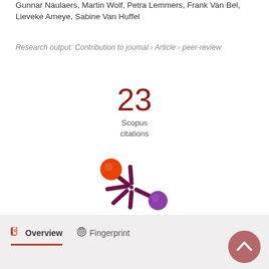Gunnar Naulaers, Martin Wolf, Petra Lemmers, Frank Van Bel, Lieveke Ameye, Sabine Van Huffel
Research output: Contribution to journal › Article › peer-review
23 Scopus citations
[Figure (logo): Altmetric donut-style logo with orange, purple circles and asterisk-like connector in dark purple/maroon]
Overview   Fingerprint